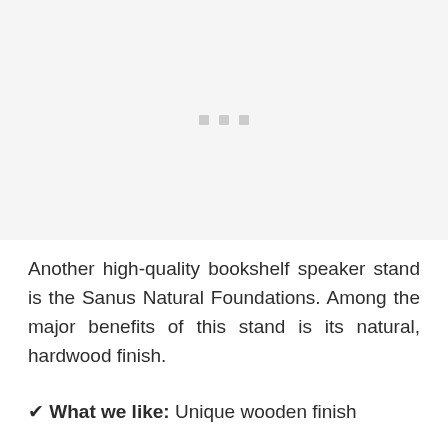[Figure (photo): Image placeholder area showing three small gray squares/dots centered in a large light gray area, representing a loading or missing image.]
Another high-quality bookshelf speaker stand is the Sanus Natural Foundations. Among the major benefits of this stand is its natural, hardwood finish.
✔ What we like: Unique wooden finish